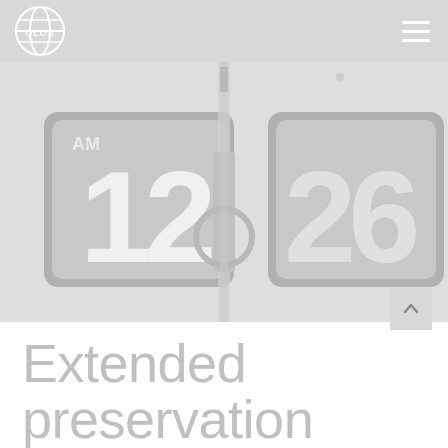OLOS
[Figure (photo): A flip clock showing AM 12:26, photographed on a metal stand against a light grey background. The flip clock has two grey panels with large white numerals.]
Extended preservation